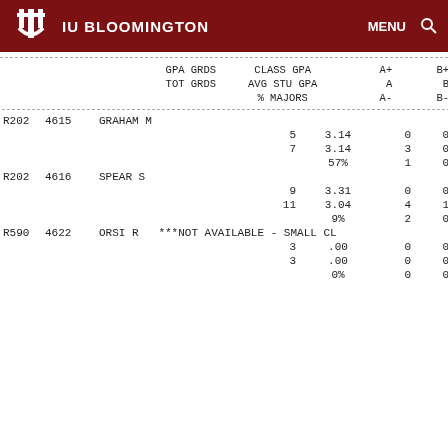IU BLOOMINGTON  MENU
| GPA GRDS | TOT GRDS |  | CLASS GPA | AVG STU GPA | % MAJORS | A+ | A | A- | B+ | B | B- |
| --- | --- | --- | --- | --- | --- | --- | --- | --- | --- | --- | --- |
| R202 | 4615 | GRAHAM M |  |  |  |  |  |  |  |  |  |
|  |  | 5 | 3.14 |  | 0 | 0 |
|  |  | 7 | 3.14 |  | 3 | 0 |
|  |  |  | 57% |  | 1 | 0 |
| R202 | 4616 | SPEAR S |  |  |  |  |  |  |  |  |  |
|  |  | 9 | 3.31 |  | 0 | 0 |
|  |  | 11 | 3.04 |  | 4 | 1 |
|  |  |  | 9% |  | 2 | 0 |
| R590 | 4622 | ORSI R | ***NOT AVAILABLE - SMALL CL |  |  |  |
|  |  | 3 | .00 |  | 0 | 0 |
|  |  | 3 | .00 |  | 0 | 0 |
|  |  |  | 0% |  | 0 | 0 |